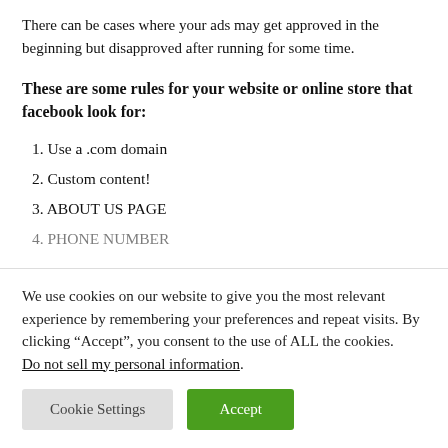There can be cases where your ads may get approved in the beginning but disapproved after running for some time.
These are some rules for your website or online store that facebook look for:
1. Use a .com domain
2. Custom content!
3. ABOUT US PAGE
4. PHONE NUMBER
We use cookies on our website to give you the most relevant experience by remembering your preferences and repeat visits. By clicking “Accept”, you consent to the use of ALL the cookies. Do not sell my personal information.
Cookie Settings  Accept